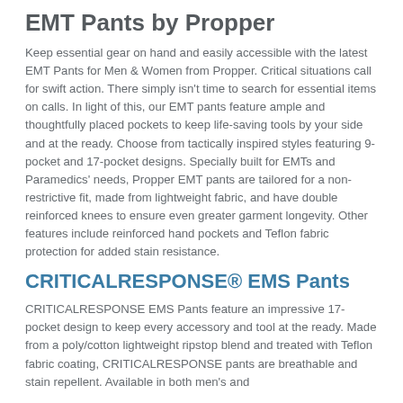EMT Pants by Propper
Keep essential gear on hand and easily accessible with the latest EMT Pants for Men & Women from Propper. Critical situations call for swift action. There simply isn't time to search for essential items on calls. In light of this, our EMT pants feature ample and thoughtfully placed pockets to keep life-saving tools by your side and at the ready. Choose from tactically inspired styles featuring 9-pocket and 17-pocket designs. Specially built for EMTs and Paramedics' needs, Propper EMT pants are tailored for a non-restrictive fit, made from lightweight fabric, and have double reinforced knees to ensure even greater garment longevity. Other features include reinforced hand pockets and Teflon fabric protection for added stain resistance.
CRITICALRESPONSE® EMS Pants
CRITICALRESPONSE EMS Pants feature an impressive 17-pocket design to keep every accessory and tool at the ready. Made from a poly/cotton lightweight ripstop blend and treated with Teflon fabric coating, CRITICALRESPONSE pants are breathable and stain repellent. Available in both men's and